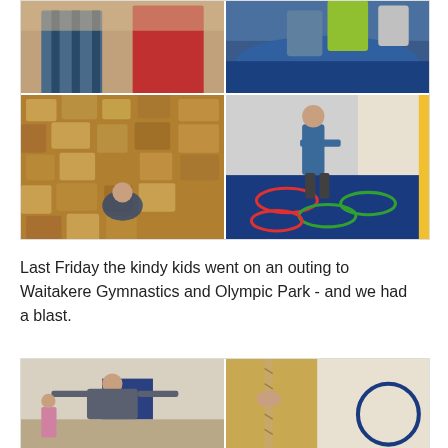[Figure (photo): Collage of four photos showing children at Waitakere Gymnastics and Olympic Park. Top-left: two children indoors. Top-right: children climbing on blue foam equipment. Bottom-left (large): child climbing in foam pit with large brown foam blocks. Bottom-right: boy jumping through hula hoops on blue mat near climbing wall.]
Last Friday the kindy kids went on an outing to Waitakere Gymnastics and Olympic Park - and we had a blast.
[Figure (photo): Two photos at bottom of page. Left: instructor/child in gymnastics hall with arms outstretched. Right: close-up of rope and gymnastic equipment.]